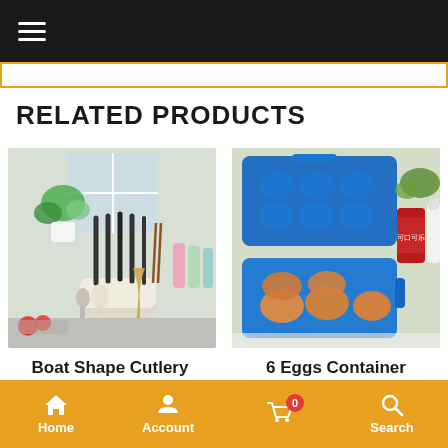≡
RELATED PRODUCTS
[Figure (photo): Boat Shape Cutlery holder/organizer with knives, chopsticks, and kitchen utensils on a kitchen counter]
[Figure (photo): Blue 6-egg container open showing 6 brown eggs, with Coca-Cola can and other items in background]
Boat Shape Cutlery
6 Eggs Container
Home   Account   0   Search